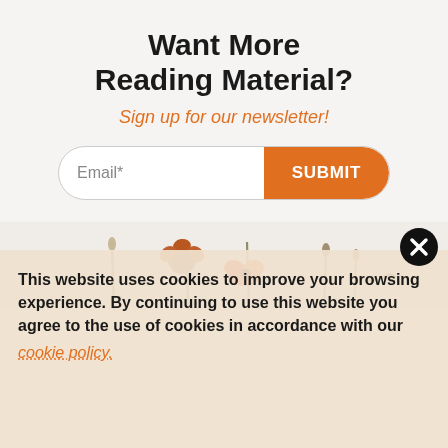Want More Reading Material?
Sign up for our newsletter!
[Figure (screenshot): Email input field with Submit button, and decorative flower illustration below]
This website uses cookies to improve your browsing experience. By continuing to use this website you agree to the use of cookies in accordance with our cookie policy.